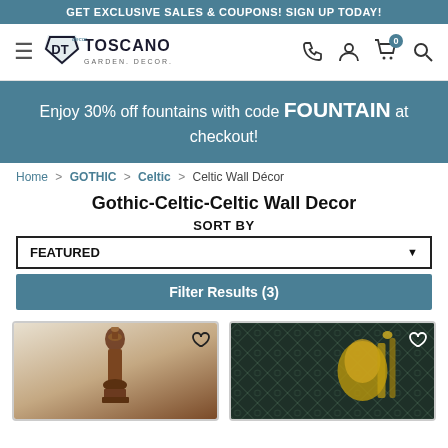GET EXCLUSIVE SALES & COUPONS! SIGN UP TODAY!
[Figure (logo): Design Toscano logo with hamburger menu and navigation icons (phone, account, cart with 0, search)]
Enjoy 30% off fountains with code FOUNTAIN at checkout!
Home > GOTHIC > Celtic > Celtic Wall Décor
Gothic-Celtic-Celtic Wall Decor
SORT BY
FEATURED
Filter Results (3)
[Figure (photo): Celtic wall decor product photo 1 - dark wooden ornate piece]
[Figure (photo): Celtic wall decor product photo 2 - dark metallic decorative wall piece]